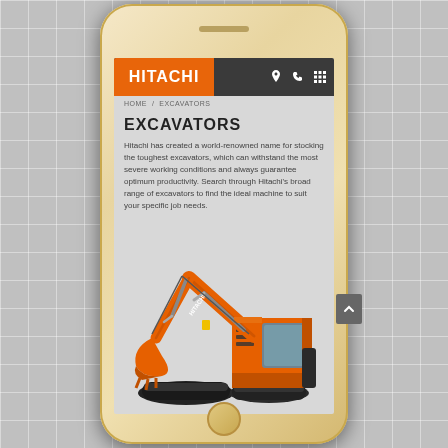[Figure (screenshot): Mobile phone (iPhone-style) displaying Hitachi construction equipment app showing Excavators page with orange Hitachi header, breadcrumb navigation HOME / EXCAVATORS, EXCAVATORS heading, descriptive text about Hitachi excavators, and an orange Hitachi excavator image]
HITACHI
HOME / EXCAVATORS
EXCAVATORS
Hitachi has created a world-renowned name for stocking the toughest excavators, which can withstand the most severe working conditions and always guarantee optimum productivity. Search through Hitachi's broad range of excavators to find the ideal machine to suit your specific job needs.